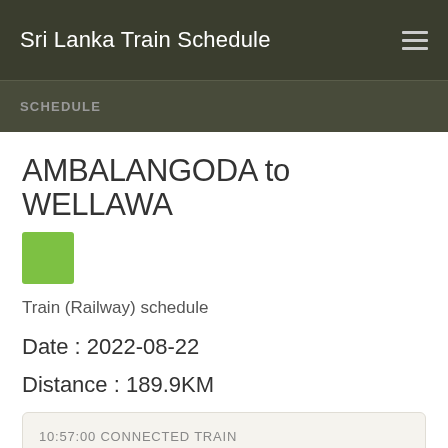Sri Lanka Train Schedule
SCHEDULE
AMBALANGODA to WELLAWA
Train (Railway) schedule
Date : 2022-08-22
Distance : 189.9KM
10:57:00 CONNECTED TRAIN